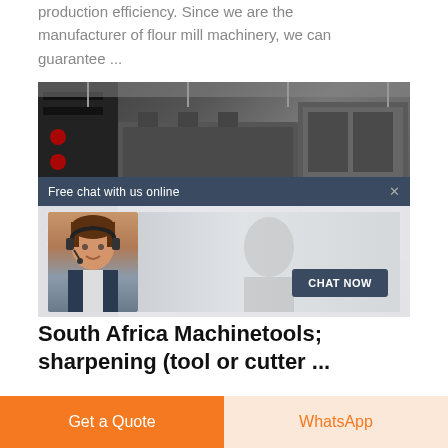production efficiency. Since we are the manufacturer of flour mill machinery, we can guarantee ...
[Figure (photo): Industrial machinery in a factory/warehouse setting with a live chat overlay popup showing an agent with headset and a 'CHAT NOW' button on a dark blue background]
South Africa Machinetools; sharpening (tool or cutter ...
South Africa exports of Machinetools; sharpening
Get a Quote
WhatsApp